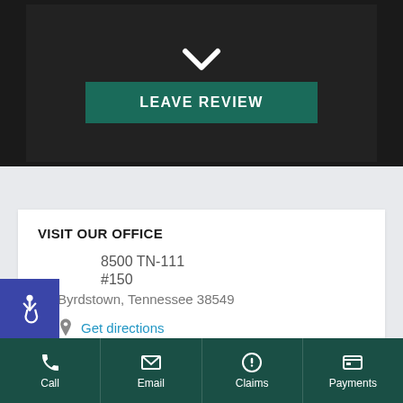[Figure (screenshot): Dark background hero section with a white checkmark icon and a green 'LEAVE REVIEW' button]
VISIT OUR OFFICE
8500 TN-111
#150
Byrdstown, Tennessee 38549
Get directions
Call  Email  Claims  Payments